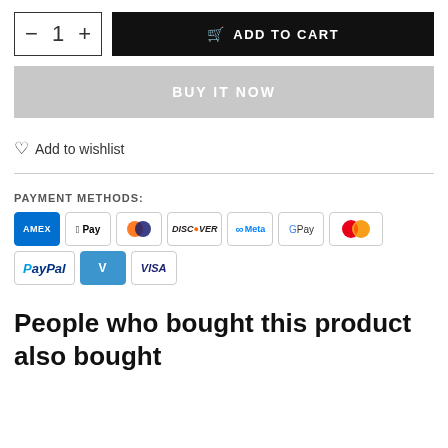− 1 + [ADD TO CART button]
BUY IT NOW
Add to wishlist
PAYMENT METHODS:
[Figure (infographic): Row of payment method logos: Amex, Apple Pay, Diners Club, Discover, Meta Pay, Google Pay, Mastercard, PayPal, Venmo, Visa]
People who bought this product also bought